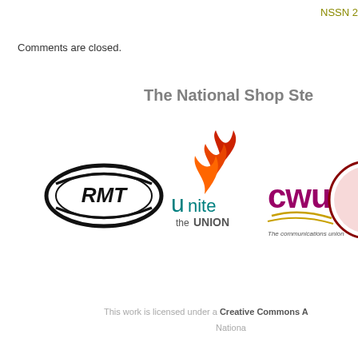NSSN 2
Comments are closed.
The National Shop Ste
[Figure (logo): Union logos: RMT, Unite the Union, CWU (The communications union), and a circular crest logo (partially visible)]
This work is licensed under a Creative Commons A
Nationa